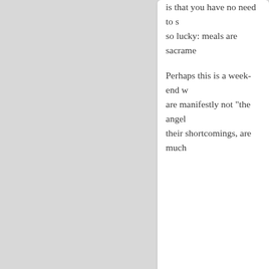is that you have no need to so lucky: meals are sacrame
Perhaps this is a week-end w are manifestly not "the angel their shortcomings, are much
Catching Up
12/March/2010 Filed in: Jottings
Yesterday we drove D. Teresa she helped us enormously by else besides. Unfortunately, t house, we must begin on St C going, but we have visions of audio book on Mother Teresa